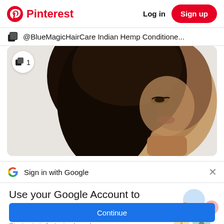Pinterest — Log in | Sign up
@BlueMagicHairCare Indian Hemp Conditione...
[Figure (photo): Profile photo of a woman with long braids in side profile against a light background, with a copy/duplicate icon and the number 1 overlaid in the top left]
Sign in with Google
Use your Google Account to sign in to Pinterest
No more passwords to remember. Signing in is fast, simple and secure.
[Figure (illustration): Google sign-in key illustration with colorful circular icons and a golden key]
Continue